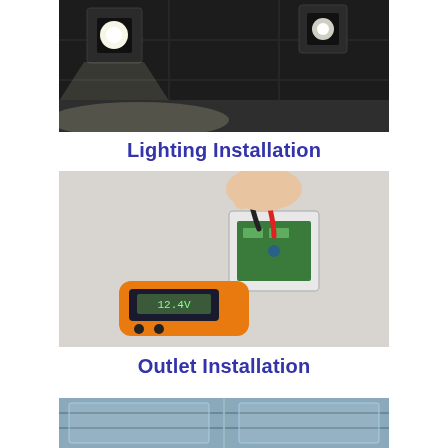[Figure (photo): Ceiling with recessed square LED spotlights illuminating a dark ceiling panel, showing bright white light beams.]
Lighting Installation
[Figure (photo): A person's hand using a multimeter with red and black probes testing an electrical outlet box mounted on a white wall. An orange multimeter body is visible in the foreground.]
Outlet Installation
[Figure (photo): Partial view of a third photo at the bottom, partially cropped.]